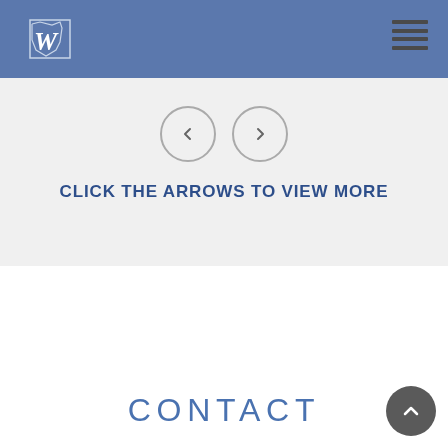Website header with logo W and hamburger menu
[Figure (screenshot): Navigation arrows (left and right chevron buttons in circles) for a slideshow or carousel]
CLICK THE ARROWS TO VIEW MORE
CONTACT
[Figure (other): Back to top button (upward chevron in dark circle)]